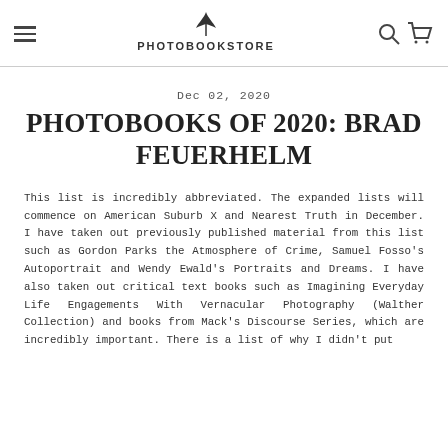PHOTOBOOKSTORE
Dec 02, 2020
PHOTOBOOKS OF 2020: BRAD FEUERHELM
This list is incredibly abbreviated. The expanded lists will commence on American Suburb X and Nearest Truth in December. I have taken out previously published material from this list such as Gordon Parks the Atmosphere of Crime, Samuel Fosso’s Autoportrait and Wendy Ewald’s Portraits and Dreams. I have also taken out critical text books such as Imagining Everyday Life Engagements With Vernacular Photography (Walther Collection) and books from Mack’s Discourse Series, which are incredibly important. There is a list of why I didn’t put